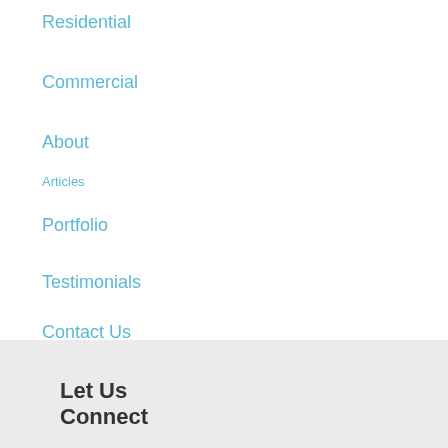Residential
Commercial
About
Articles
Portfolio
Testimonials
Contact Us
Let Us Connect